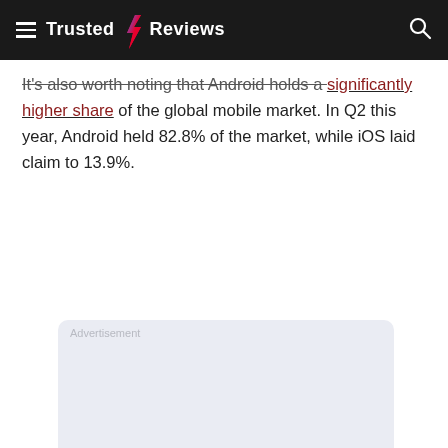Trusted Reviews
It's also worth noting that Android holds a significantly higher share of the global mobile market. In Q2 this year, Android held 82.8% of the market, while iOS laid claim to 13.9%.
[Figure (other): Advertisement placeholder box with light blue-grey background]